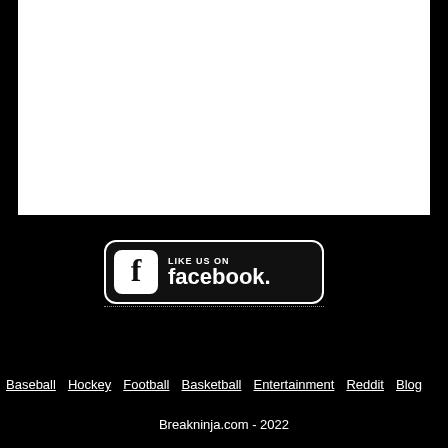[Figure (other): White rectangular content area against black background]
[Figure (logo): Like us on Facebook badge with Facebook logo icon and text]
Baseball  Hockey  Football  Basketball  Entertainment  Reddit  Blog
Breakninja.com - 2022